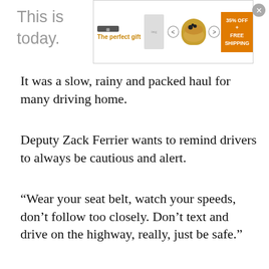This is … like today.
[Figure (other): Advertisement banner: 'The perfect gift' with food bowl image, navigation arrows, and '35% OFF + FREE SHIPPING' call to action button]
It was a slow, rainy and packed haul for many driving home.
Deputy Zack Ferrier wants to remind drivers to always be cautious and alert.
“Wear your seat belt, watch your speeds, don’t follow too closely. Don’t text and drive on the highway, really, just be safe.”